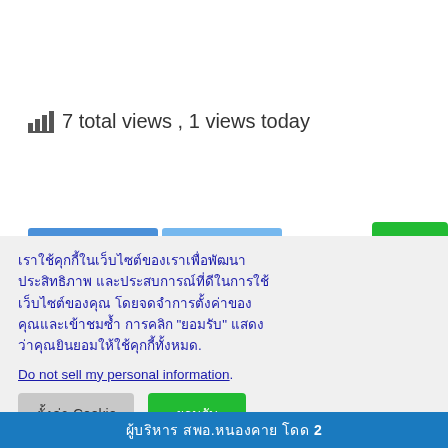7 total views , 1 views today
[Figure (screenshot): Cookie consent overlay on a Thai website. Shows Thai text about cookies, a 'Do not sell my personal information' link, and two buttons: 'ตั้งค่า Cookie' and 'ยอมรับ'. Background shows partial tab navigation and blue bottom bar with Thai text.]
เราใช้คุกกี้ในเว็บไซต์ของเราเพื่อพัฒนาประสิทธิภาพ และประสบการณ์ที่ดีในการใช้เว็บไซต์ของคุณ โดยจดจำการตั้งค่าของคุณและเข้าชมซ้ำ การคลิก "ยอมรับ" แสดงว่าคุณยินยอมให้ใช้คุกกี้ทั้งหมด.
Do not sell my personal information.
ตั้งค่า Cookie
ยอมรับ
า ข่าว สพฐ. ครั้งที่
ยนรู้เชิงรุก (Active
ล? »
ผู้บริหาร สพอ.หนองคาย โดด 2